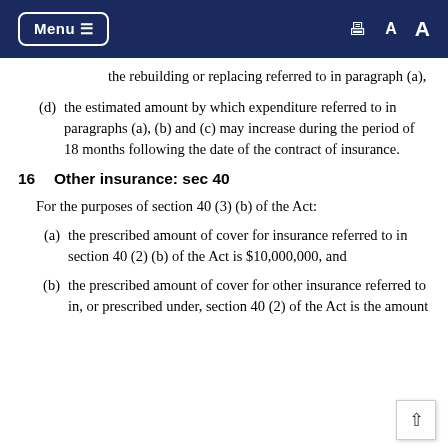Menu  [print] A A
the rebuilding or replacing referred to in paragraph (a),
(d) the estimated amount by which expenditure referred to in paragraphs (a), (b) and (c) may increase during the period of 18 months following the date of the contract of insurance.
16  Other insurance: sec 40
For the purposes of section 40 (3) (b) of the Act:
(a) the prescribed amount of cover for insurance referred to in section 40 (2) (b) of the Act is $10,000,000, and
(b) the prescribed amount of cover for other insurance referred to in, or prescribed under, section 40 (2) of the Act is the amount